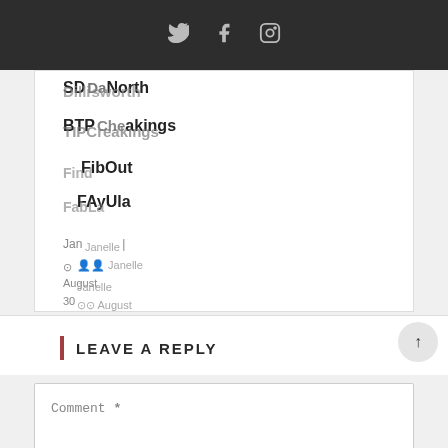Social icons: Twitter, Facebook, Instagram
SD North BTP Breaking Find Out Fa La | Janelle | August 30, 2022 16, 21, 2022 2022
LEAVE A REPLY
Comment *